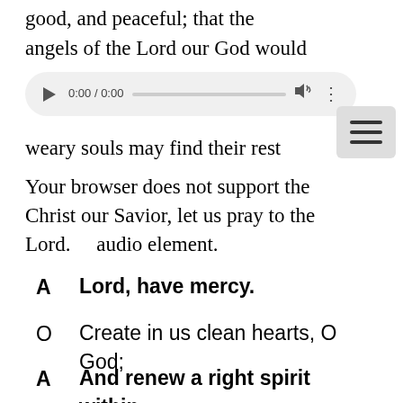good, and peaceful; that the angels of the Lord our God would guard our weary souls may find their rest
[Figure (screenshot): Browser audio player overlay showing 0:00 / 0:00 with play button, progress bar, volume icon, and menu dots. Below it a browser tooltip: 'Your browser does not support the audio element.']
Christ our Savior, let us pray to the Lord.
A   Lord, have mercy.
O   Create in us clean hearts, O God;
A   And renew a right spirit within us.